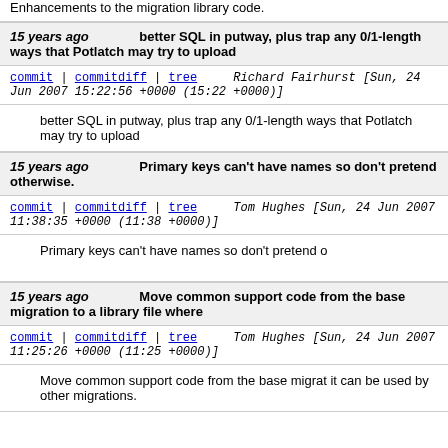Enhancements to the migration library code.
15 years ago   better SQL in putway, plus trap any 0/1-length ways that Potlatch may try to upload
commit | commitdiff | tree   Richard Fairhurst [Sun, 24 Jun 2007 15:22:56 +0000 (15:22 +0000)]
better SQL in putway, plus trap any 0/1-length ways that Potlatch may try to upload
15 years ago   Primary keys can't have names so don't pretend otherwise.
commit | commitdiff | tree   Tom Hughes [Sun, 24 Jun 2007 11:38:35 +0000 (11:38 +0000)]
Primary keys can't have names so don't pretend o
15 years ago   Move common support code from the base migration to a library file where
commit | commitdiff | tree   Tom Hughes [Sun, 24 Jun 2007 11:25:26 +0000 (11:25 +0000)]
Move common support code from the base migrat it can be used by other migrations.